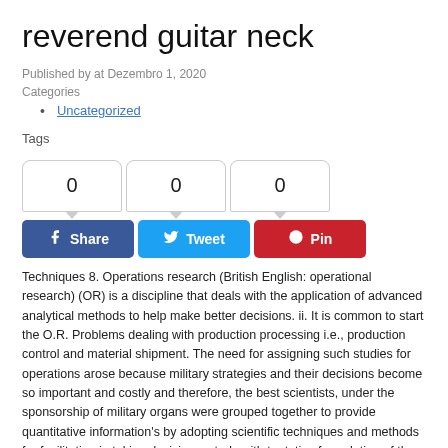reverend guitar neck
Published by at Dezembro 1, 2020
Categories
Uncategorized
Tags
[Figure (other): Social share buttons with count boxes showing 0 for Facebook Share, Twitter Tweet, and Pinterest Pin]
Techniques 8. Operations research (British English: operational research) (OR) is a discipline that deals with the application of advanced analytical methods to help make better decisions. ii. It is common to start the O.R. Problems dealing with production processing i.e., production control and material shipment. The need for assigning such studies for operations arose because military strategies and their decisions become so important and costly and therefore, the best scientists, under the sponsorship of military organs were grouped together to provide quantitative information's by adopting scientific techniques and methods for facilitating in taking decisions. study with tentative formulation of the problem, which is